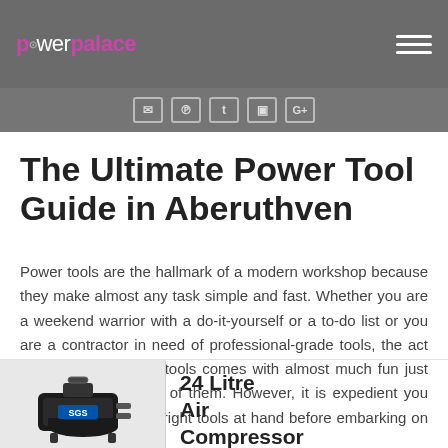power palace — navigation header with logo and hamburger menu
Social icons: Twitter, Pinterest, Tumblr, Instagram, Google+
The Ultimate Power Tool Guide in Aberuthven
Power tools are the hallmark of a modern workshop because they make almost any task simple and fast. Whether you are a weekend warrior with a do-it-yourself or a to-do list or you are a contractor in need of professional-grade tools, the act of purchasing power tools comes with almost much fun just as when making use of them. However, it is expedient you ensure you have the right tools at hand before embarking on any project.
[Figure (photo): Photo of a 24 Litre Air Compressor with SGS branding, black unit with hose connections]
24 Litre Air Compressor